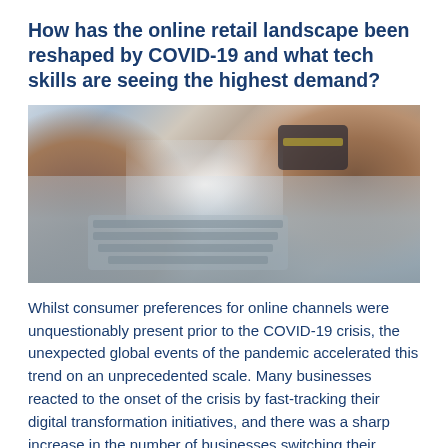How has the online retail landscape been reshaped by COVID-19 and what tech skills are seeing the highest demand?
[Figure (photo): Close-up photo of hands using a laptop and holding a credit card, suggesting online shopping]
Whilst consumer preferences for online channels were unquestionably present prior to the COVID-19 crisis, the unexpected global events of the pandemic accelerated this trend on an unprecedented scale. Many businesses reacted to the onset of the crisis by fast-tracking their digital transformation initiatives, and there was a sharp increase in the number of businesses switching their...